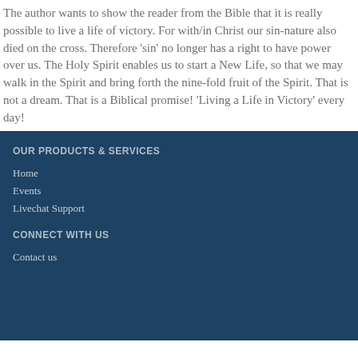The author wants to show the reader from the Bible that it is really possible to live a life of victory. For with/in Christ our sin-nature also died on the cross. Therefore 'sin' no longer has a right to have power over us. The Holy Spirit enables us to start a New Life, so that we may walk in the Spirit and bring forth the nine-fold fruit of the Spirit. That is not a dream. That is a Biblical promise! 'Living a Life in Victory' every day!
OUR PRODUCTS & SERVICES
Home
Events
Livechat Support
CONNECT WITH US
Contact us